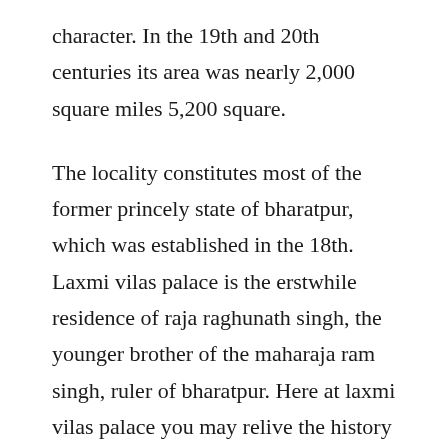character. In the 19th and 20th centuries its area was nearly 2,000 square miles 5,200 square.
The locality constitutes most of the former princely state of bharatpur, which was established in the 18th. Laxmi vilas palace is the erstwhile residence of raja raghunath singh, the younger brother of the maharaja ram singh, ruler of bharatpur. Here at laxmi vilas palace you may relive the history of bharatpur, feel the warm hospitality extended to you by our present generation living in the